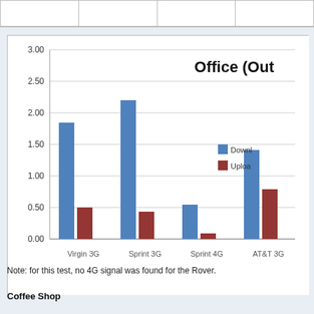|  |  |  |  |
| --- | --- | --- | --- |
|   |   |   |   |
[Figure (grouped-bar-chart): Office (Out...]
Note: for this test, no 4G signal was found for the Rover.
Coffee Shop